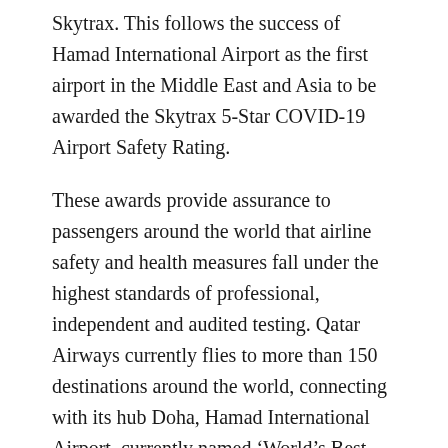Skytrax. This follows the success of Hamad International Airport as the first airport in the Middle East and Asia to be awarded the Skytrax 5-Star COVID-19 Airport Safety Rating.
These awards provide assurance to passengers around the world that airline safety and health measures fall under the highest standards of professional, independent and audited testing. Qatar Airways currently flies to more than 150 destinations around the world, connecting with its hub Doha, Hamad International Airport, currently named ‘World’s Best Airport’ by Skytrax World Airport Awards 2021.
We are offering FIFA World Cup Tickets football